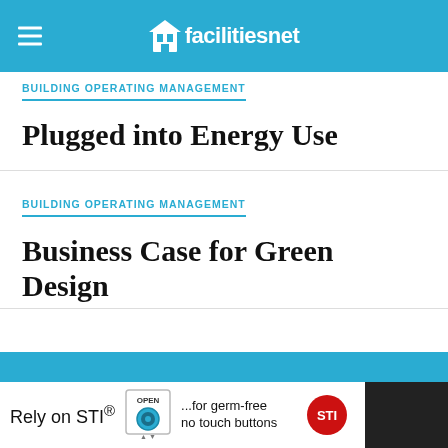facilitiesnet
BUILDING OPERATING MANAGEMENT
Plugged into Energy Use
BUILDING OPERATING MANAGEMENT
Business Case for Green Design
[Figure (other): Advertisement banner: Rely on STI® ...for germ-free no touch buttons, with STI logo badge]